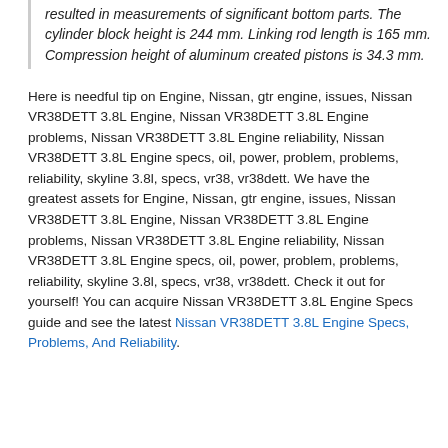resulted in measurements of significant bottom parts. The cylinder block height is 244 mm. Linking rod length is 165 mm. Compression height of aluminum created pistons is 34.3 mm.
Here is needful tip on Engine, Nissan, gtr engine, issues, Nissan VR38DETT 3.8L Engine, Nissan VR38DETT 3.8L Engine problems, Nissan VR38DETT 3.8L Engine reliability, Nissan VR38DETT 3.8L Engine specs, oil, power, problem, problems, reliability, skyline 3.8l, specs, vr38, vr38dett. We have the greatest assets for Engine, Nissan, gtr engine, issues, Nissan VR38DETT 3.8L Engine, Nissan VR38DETT 3.8L Engine problems, Nissan VR38DETT 3.8L Engine reliability, Nissan VR38DETT 3.8L Engine specs, oil, power, problem, problems, reliability, skyline 3.8l, specs, vr38, vr38dett. Check it out for yourself! You can acquire Nissan VR38DETT 3.8L Engine Specs guide and see the latest Nissan VR38DETT 3.8L Engine Specs, Problems, And Reliability.